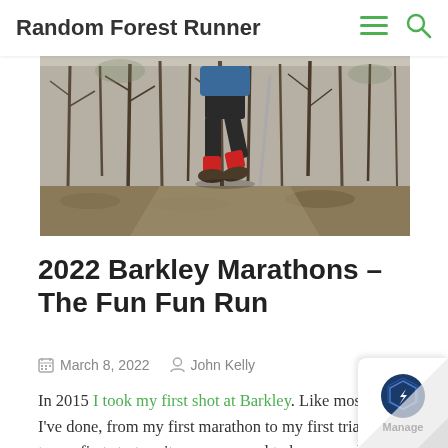Random Forest Runner
[Figure (photo): Runner on a forest trail, lower body visible wearing black shorts, red socks, and trail shoes, with bare winter trees in the background]
2022 Barkley Marathons – The Fun Fun Run
March 8, 2022    John Kelly
In 2015 I took my first shot at Barkley. Like most things I've done, from my first marathon to my first triathlon to my first startup, it was supposed to be one and done – to go out, give it my best shot and see how I could